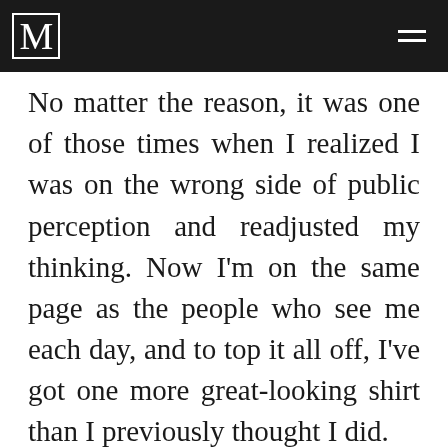M
No matter the reason, it was one of those times when I realized I was on the wrong side of public perception and readjusted my thinking. Now I’m on the same page as the people who see me each day, and to top it all off, I’ve got one more great-looking shirt than I previously thought I did.
What would have happened if I had defied my newfound admirers? “You don’t know what you’re talking about.